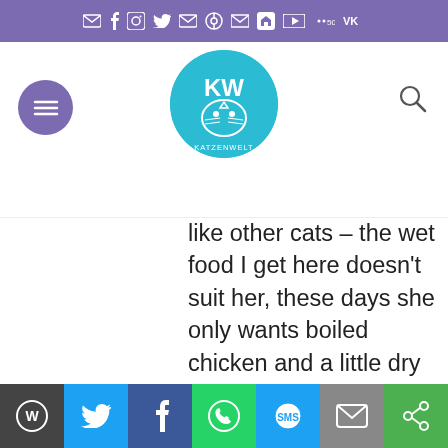[Figure (screenshot): Top purple social media icon bar with email, facebook, instagram, twitter, email, pinterest, RSS, linkedin, youtube, and other icons]
[Figure (screenshot): Website navigation bar with hamburger menu button, circular cat logo for Katzenwelt, and search icon]
like other cats – the wet food I get here doesn't suit her, these days she only wants boiled chicken and a little dry food—there are pics of her on catsinindia.blogspot.in; will be posting her story when I get some time.
Loading...
SEPTEMBER 21, 2015 AT 5:27 AM   REPLY
Angel's Eyes - Persian
[Figure (screenshot): Bottom share bar with WordPress, Twitter, Facebook, WhatsApp, SMS, Email, and more sharing buttons]